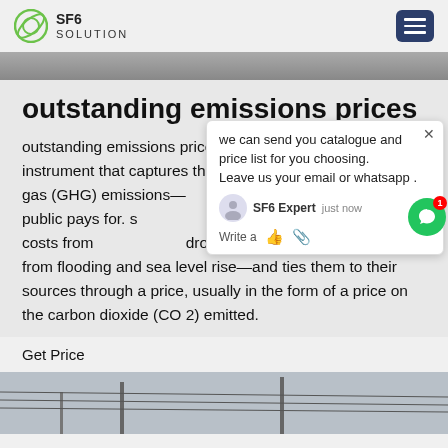SF6 SOLUTION
outstanding emissions prices
outstanding emissions prices,Carbon pricing is an instrument that captures the externalities of greenhouse gas (GHG) emissions—the cost of emissions that the public pays for. Such as damage to crops, health care costs from air pollution, droughts, and loss of property from flooding and sea level rise—and ties them to their sources through a price, usually in the form of a price on the carbon dioxide (CO 2) emitted.
Get Price